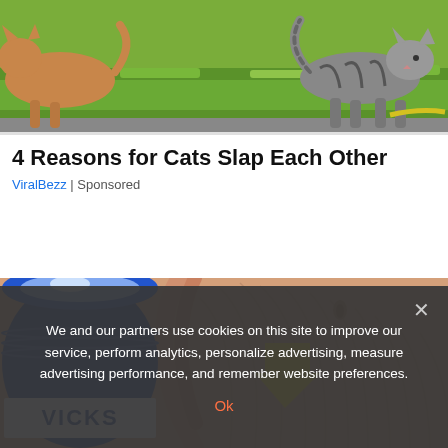[Figure (photo): Two cats outdoors on grass/pavement — one tabby cat walking on the right side, another cat partially visible on the left, green grass background]
4 Reasons for Cats Slap Each Other
ViralBezz | Sponsored
[Figure (photo): Close-up of a person's abdomen showing stretch marks, with a blue Vicks VapoRub jar on the left and a yellow arrow pointing to the belly area]
We and our partners use cookies on this site to improve our service, perform analytics, personalize advertising, measure advertising performance, and remember website preferences.
Ok